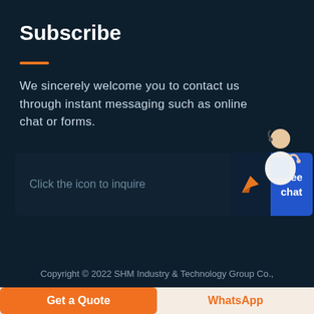Subscribe
We sincerely welcome you to contact us through instant messaging such as online chat or forms.
[Figure (infographic): Chat input field with placeholder 'Click the icon to inquire', a send arrow button, and a blue 'Free chat' button. A customer service avatar illustration appears above-right.]
Copyright © 2022 SHM Industry & Technology Group Co.,
Get a Quote
WhatsApp